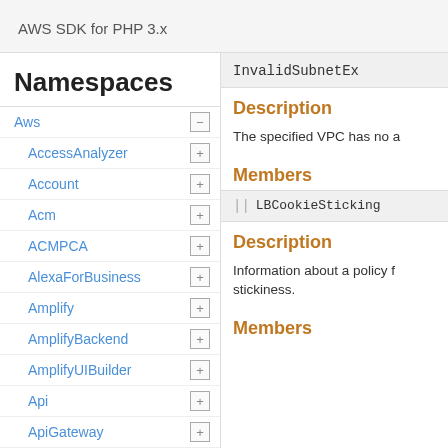AWS SDK for PHP 3.x
Namespaces
Aws
AccessAnalyzer
Account
Acm
ACMPCA
AlexaForBusiness
Amplify
AmplifyBackend
AmplifyUIBuilder
Api
ApiGateway
ApiGatewayManagementApi
InvalidSubnetEx
Description
The specified VPC has no a
Members
LBCookieSticking
Description
Information about a policy for stickiness.
Members